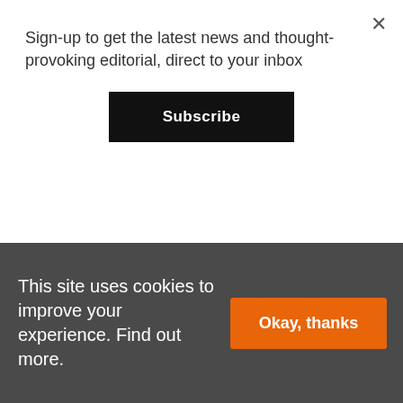Sign-up to get the latest news and thought-provoking editorial, direct to your inbox
Subscribe
AWARDS · attractions for over 10 years.
MUSEUMS +HERITAGE · The UK's largest free to attend annual
This site uses cookies to improve your experience. Find out more.
Okay, thanks